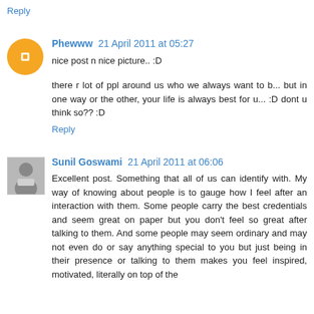Reply
Phewww 21 April 2011 at 05:27
nice post n nice picture.. :D
there r lot of ppl around us who we always want to b... but in one way or the other, your life is always best for u... :D dont u think so?? :D
Reply
Sunil Goswami 21 April 2011 at 06:06
Excellent post. Something that all of us can identify with. My way of knowing about people is to gauge how I feel after an interaction with them. Some people carry the best credentials and seem great on paper but you don't feel so great after talking to them. And some people may seem ordinary and may not even do or say anything special to you but just being in their presence or talking to them makes you feel inspired, motivated, literally on top of the